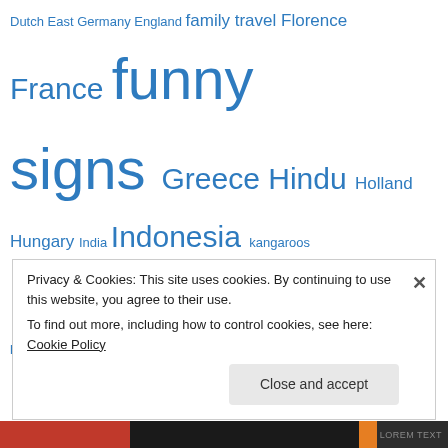Dutch East Germany England family travel Florence France funny signs Greece Hindu Holland Hungary India Indonesia kangaroos Kiev Koninginnedag language Las Vegas learning a language McDonalds Melbourne Mexico miscommunication Mt. Princeton Naxos New Zealand Paris Peru Queen's Day Red Light District rocks Rotterdam Saigon Sanur scaffolding Semana Santa South Australia Spain St. Maarten Sydney Sydney Opera House Taj Mahal Tanah Lot teaching teaching abroad the Duomo the Netherlands Toronto traffic signs travel Travel Ahh traveling with kids travel misadventure Travel Mishap travel
Privacy & Cookies: This site uses cookies. By continuing to use this website, you agree to their use. To find out more, including how to control cookies, see here: Cookie Policy
Close and accept